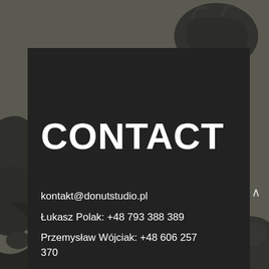[Figure (illustration): Dark background with decorative black tattoo-style illustration of a skull and ornamental elements on a grey-brown surface]
CONTACT
kontakt@donutstudio.pl
Łukasz Polak: +48 793 388 389
Przemysław Wójciak: +48 606 257 370